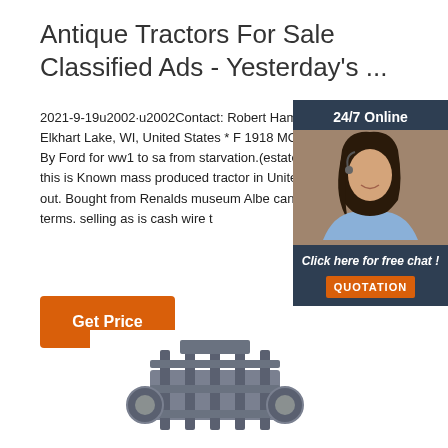Antique Tractors For Sale Classified Ads - Yesterday's ...
2021-9-19u2002·u2002Contact: Robert Hamm Located in: Elkhart Lake, WI, United States * F 1918 MOM Tractor Built By Ford for ww1 to sa from starvation.(estate sale) .I was Told this is Known mass produced tractor in United states inside out. Bought from Renalds museum Albe candida. call for terms. selling as is cash wire t
[Figure (photo): Customer service representative woman with headset, smiling, with 24/7 Online label and chat widget overlay]
[Figure (photo): Antique tractor machinery photo at bottom of page]